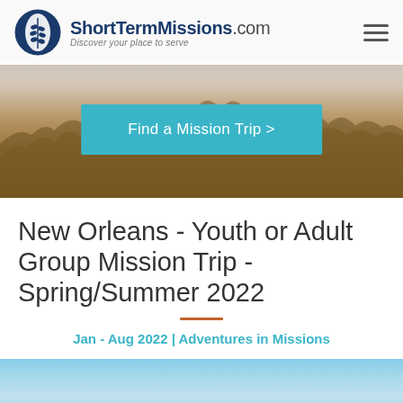[Figure (screenshot): Website header with ShortTermMissions.com logo, tagline 'Discover your place to serve', hamburger menu icon, hero image of people in wheat field, and teal 'Find a Mission Trip >' call-to-action button]
New Orleans - Youth or Adult Group Mission Trip - Spring/Summer 2022
Jan - Aug 2022 | Adventures in Missions
[Figure (photo): Aerial or wide view photo of New Orleans with blue sky and city skyline near water]